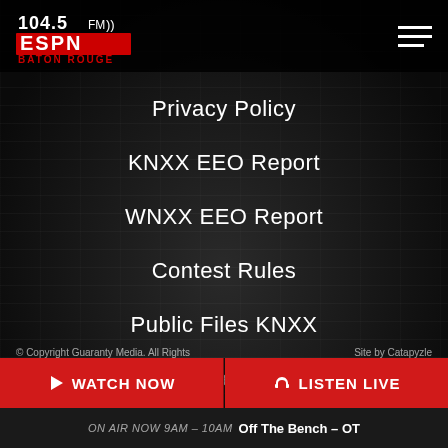[Figure (logo): 104.5 FM ESPN Baton Rouge logo in top left header]
Privacy Policy
KNXX EEO Report
WNXX EEO Report
Contest Rules
Public Files KNXX
Public Files WNXX
© Copyright Guaranty Media. All Rights    Site by Catapyzle
▶ WATCH NOW    🎧 LISTEN LIVE
ON AIR NOW 9AM - 10AM  Off The Bench – OT